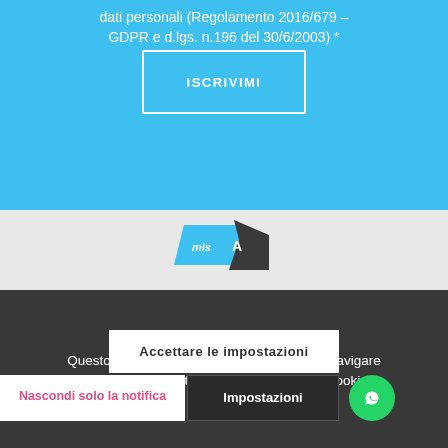dati personali (Regolamento 2016/679 – GDPR e d.lgs. n.196 del 30/6/2003) *
ISCRIVIMI
[Figure (logo): Partial logo with blue and dark elements visible]
Questo sito utilizza i cookie. Continuando a navigare nel sito, acconsentite al nostro utilizzo dei cookie.
Accettare le impostazioni
Nascondi solo la notifica
Impostazioni